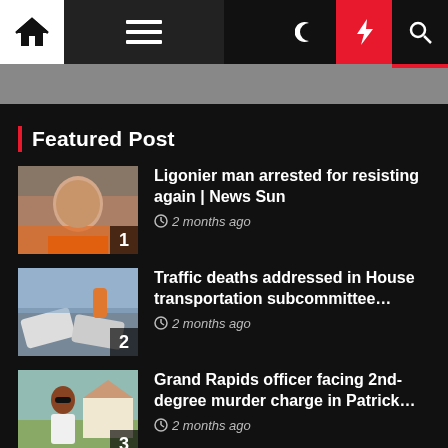Navigation bar with home, menu, dark mode, featured (bolt), and search icons
Featured Post
Ligonier man arrested for resisting again | News Sun — 2 months ago
Traffic deaths addressed in House transportation subcommittee… — 2 months ago
Grand Rapids officer facing 2nd-degree murder charge in Patrick… — 2 months ago